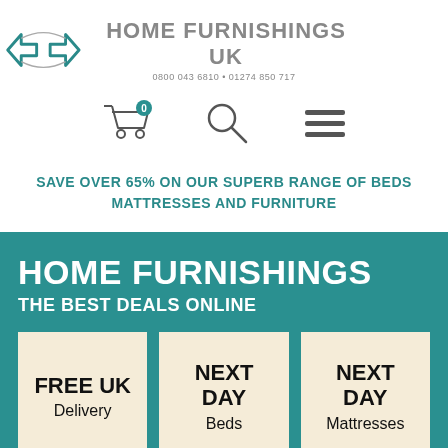[Figure (logo): Home Furnishings UK logo with teal house/arrow shape and grey text, phone numbers 0800 043 6810 and 01274 850 717]
[Figure (infographic): Navigation icons: shopping cart with 0 badge, magnifying glass search icon, hamburger menu icon]
SAVE OVER 65% ON OUR SUPERB RANGE OF BEDS MATTRESSES AND FURNITURE
HOME FURNISHINGS
THE BEST DEALS ONLINE
FREE UK Delivery
NEXT DAY Beds
NEXT DAY Mattresses